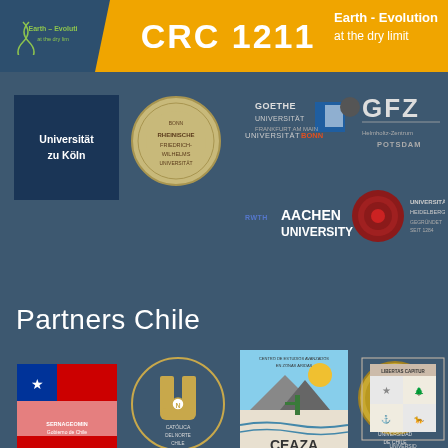CRC 1211 — Earth - Evolution at the dry limit
[Figure (logo): CRC 1211 header with Earth-Evolution logo, title CRC 1211, and subtitle Earth - Evolution at the dry limit]
[Figure (logo): German university partner logos: Universität zu Köln, University seal, Universität Bonn, Goethe Universität Frankfurt am Main, GFZ Helmholtz-Zentrum Potsdam, RWTH Aachen University, Universität Heidelberg]
Partners Chile
[Figure (logo): Chilean partner logos: SERNAGEOMIN (Gobierno de Chile), Universidad Católica del Norte Chile, CEAZA (Centro de Estudios Avanzados en Zonas Áridas), Universidad de Chile, Universidad Austral de Chile]
[Figure (logo): Bottom row of additional partner logos (partially visible)]